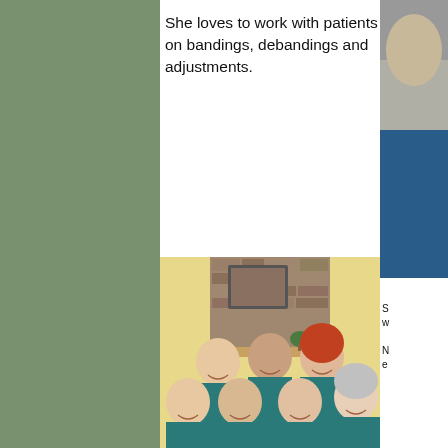She loves to work with patients on bandings, debandings and adjustments.
[Figure (photo): Group photo of seven dental staff members in teal scrubs, smiling in front of a stone fireplace with a warm yellow wall background.]
[Figure (photo): Partial photo of a person (cut off on right edge of page).]
S w N e